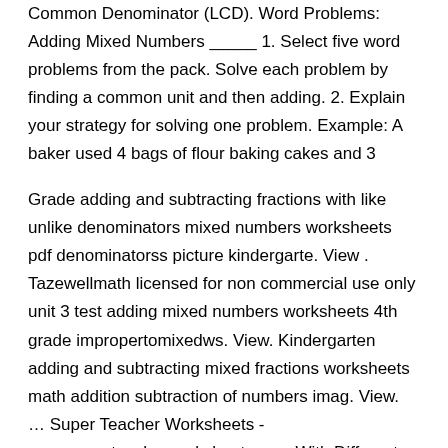Common Denominator (LCD). Word Problems: Adding Mixed Numbers _____ 1. Select five word problems from the pack. Solve each problem by finding a common unit and then adding. 2. Explain your strategy for solving one problem. Example: A baker used 4 bags of flour baking cakes and 3
Grade adding and subtracting fractions with like unlike denominators mixed numbers worksheets pdf denominatorss picture kindergarte. View . Tazewellmath licensed for non commercial use only unit 3 test adding mixed numbers worksheets 4th grade impropertomixedws. View. Kindergarten adding and subtracting mixed fractions worksheets math addition subtraction of numbers imag. View. … Super Teacher Worksheets - www.superteacherworksheets.com With Different Denominators Adding Mixed Numbers Step 1: Find the Least Common Denominator (LCD).
Mixed Number Worksheets. This is a collection of a variety of...